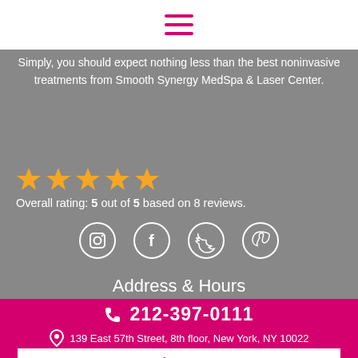[Figure (other): Hamburger menu icon (three horizontal pink lines) on white navigation bar]
Simply, you should expect nothing less than the best noninvasive treatments from Smooth Synergy MedSpa & Laser Center.
Overall rating: 5 out of 5 based on 8 reviews.
[Figure (other): Five golden star rating icons]
[Figure (other): Four social media icons in white circles: Instagram, Facebook, Twitter, Pinterest]
Address & Hours
212-397-0111
139 East 57th Street, 8th floor, New York, NY 10022
View Our Treatments Brochure
Book With Us
[Figure (other): Four social media icons in white: Instagram, Facebook, Twitter, Pinterest on magenta background]